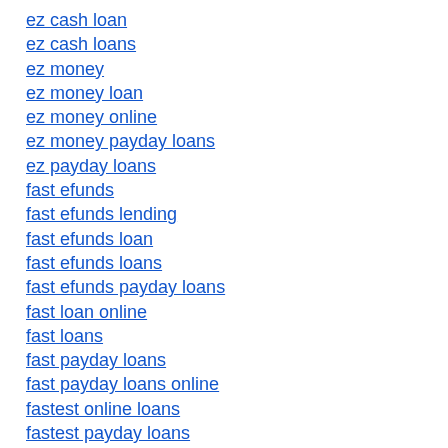ez cash loan
ez cash loans
ez money
ez money loan
ez money online
ez money payday loans
ez payday loans
fast efunds
fast efunds lending
fast efunds loan
fast efunds loans
fast efunds payday loans
fast loan online
fast loans
fast payday loans
fast payday loans online
fastest online loans
fastest payday loans
fig loan